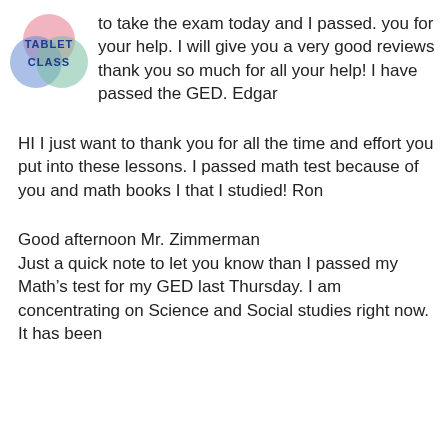[Figure (logo): TabletClass logo with overlapping colored circles and text TABLET CLASS in blue]
to take the exam today and I passed. you for your help. I will give you a very good reviews thank you so much for all your help! I have passed the GED. Edgar
HI I just want to thank you for all the time and effort you put into these lessons. I passed math test because of you and math books I that I studied! Ron
Good afternoon Mr. Zimmerman
Just a quick note to let you know than I passed my Math’s test for my GED last Thursday. I am concentrating on Science and Social studies right now. It has been